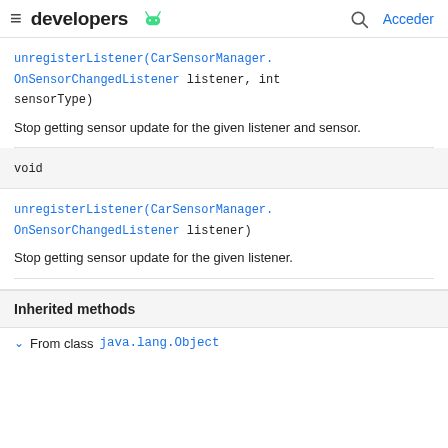≡ developers 🤖  🔍 Acceder
unregisterListener(CarSensorManager.OnSensorChangedListener listener, int sensorType)
Stop getting sensor update for the given listener and sensor.
void
unregisterListener(CarSensorManager.OnSensorChangedListener listener)
Stop getting sensor update for the given listener.
Inherited methods
∨  From class java.lang.Object